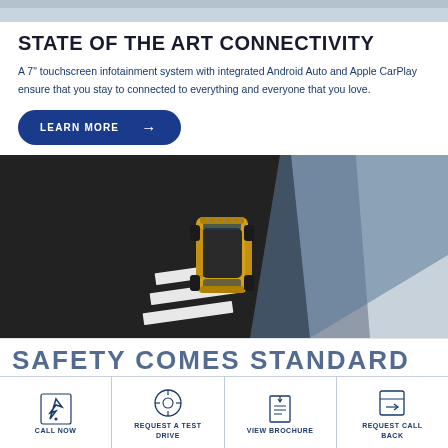[Figure (photo): Top portion of page with partial car/roof image strip at the very top]
STATE OF THE ART CONNECTIVITY
A 7" touchscreen infotainment system with integrated Android Auto and Apple CarPlay ensure that you stay to connected to everything and everyone that you love.
[Figure (photo): Blue pill-shaped LEARN MORE button with arrow]
[Figure (photo): Aerial top-down photograph of a yellow Suzuki SUV driving on a road/crosswalk, shot from above at an angle]
SAFETY COMES STANDARD
[Figure (infographic): Bottom navigation bar with four items: CALL NOW (phone icon), REQUEST A TEST DRIVE (steering wheel icon), VIEW BROCHURE (document icon), REQUEST CALL BACK (arrow icon)]